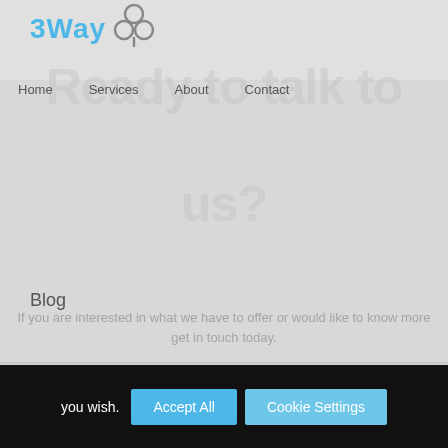[Figure (logo): 3Way logo with stylized clover/flower icon in dark gray, text '3Way' in light blue]
Home   Services   About   Contact
Ready to talk to us?
If you are interested in what we have to offer or would like to know more get in touch today.
Blog
This website uses cookies to improve your experience. We'll assume you're OK with this, but you can opt-out if you wish.
Accept All   Cookie Settings